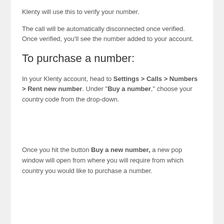Klenty will use this to verify your number.
The call will be automatically disconnected once verified. Once verified, you'll see the number added to your account.
To purchase a number:
In your Klenty account, head to Settings > Calls > Numbers > Rent new number. Under "Buy a number," choose your country code from the drop-down.
Once you hit the button Buy a new number, a new pop window will open from where you will require from which country you would like to purchase a number.